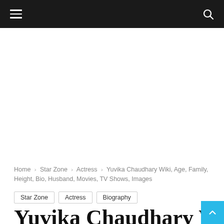≡  🔍
[Figure (other): White advertisement/content placeholder area]
Home › Star Zone › Actress › Yuvika Chaudhary Wiki, Age, Family, Height, Bio, Husband, Movies, TV Shows, Images
Star Zone
Actress
Biography
Yuvika Chaudhary Wiki, Age,